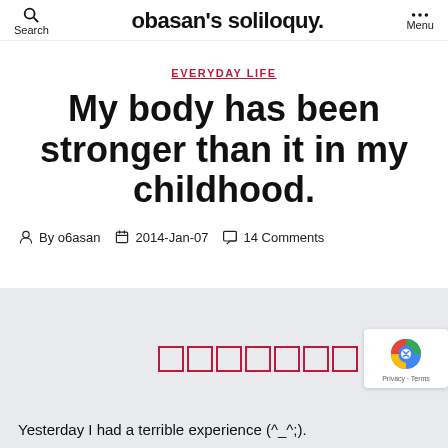Search | obasan's soliloquy. | Menu
EVERYDAY LIFE
My body has been stronger than it in my childhood.
By o6asan  2014-Jan-07  14 Comments
Yesterday I had a terrible experience (^_^;).